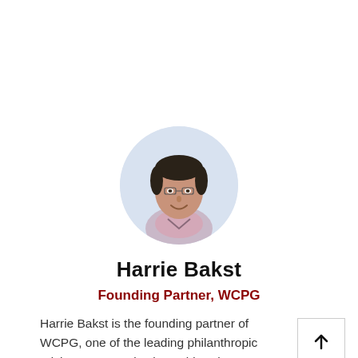[Figure (photo): Circular headshot photo of Harrie Bakst, a man wearing a light pink/checkered shirt, smiling, with short dark hair, against a light blue-grey background.]
Harrie Bakst
Founding Partner, WCPG
Harrie Bakst is the founding partner of WCPG, one of the leading philanthropic advisory companies in world. Bakst co-founded the company after